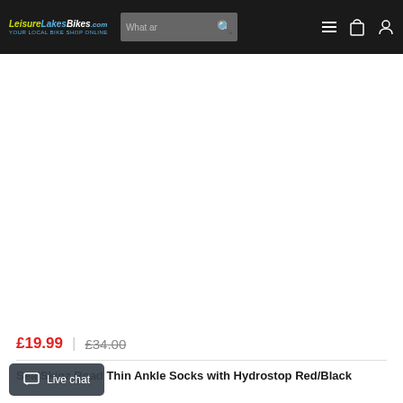LeisureLakesBikes.com navigation bar with logo, search, menu, bag, and account icons
[Figure (photo): Large white/empty product image area for SealSkinz Road Thin Ankle Socks with Hydrostop Red/Black]
£19.99  |  £34.00
SealSkinz Road Thin Ankle Socks with Hydrostop Red/Black
Live chat